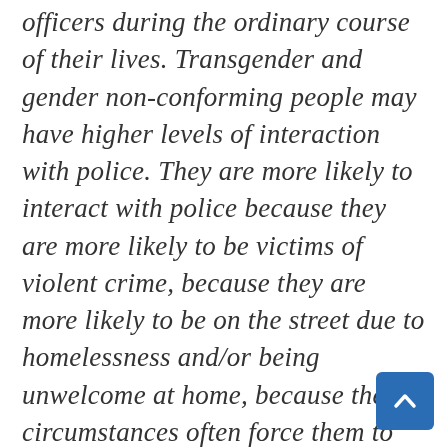officers during the ordinary course of their lives. Transgender and gender non-conforming people may have higher levels of interaction with police. They are more likely to interact with police because they are more likely to be victims of violent crime, because they are more likely to be on the street due to homelessness and/or being unwelcome at home, because their circumstances often force them to work in the underground economy, and even because many face